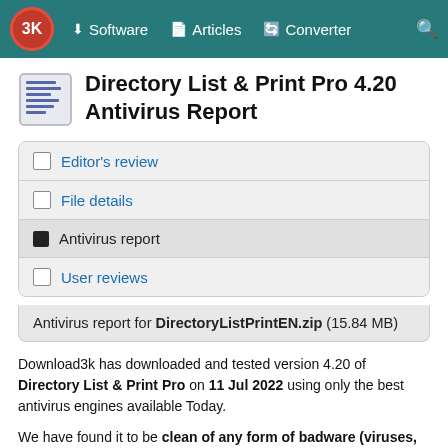3K  Software  Articles  Converter  Search
Directory List & Print Pro 4.20 Antivirus Report
Editor's review
File details
Antivirus report
User reviews
Antivirus report for DirectoryListPrintEN.zip (15.84 MB)
Download3k has downloaded and tested version 4.20 of Directory List & Print Pro on 11 Jul 2022 using only the best antivirus engines available Today.
We have found it to be clean of any form of badware (viruses, spyware, adware, etc.). You can view the full scan logs below.
We will test Directory List & Print Pro again on the next version